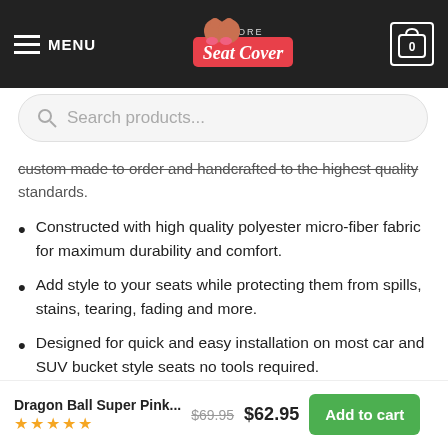MENU | Store Seat Cover | Cart: 0
custom made to order and handcrafted to the highest quality standards.
Constructed with high quality polyester micro-fiber fabric for maximum durability and comfort.
Add style to your seats while protecting them from spills, stains, tearing, fading and more.
Designed for quick and easy installation on most car and SUV bucket style seats no tools required.
Elastic backing and fastening system ensures a snug and secure universal fit on most standard car and SUV seats.
Dragon Ball Super Pink... $69.95 $62.95 Add to cart ★★★★★